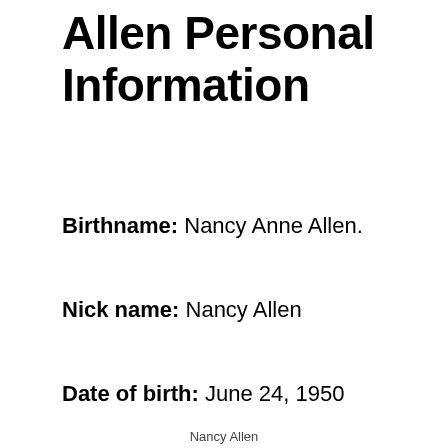Allen Personal Information
Birthname: Nancy Anne Allen.
Nick name: Nancy Allen
Date of birth: June 24, 1950
Nancy Allen